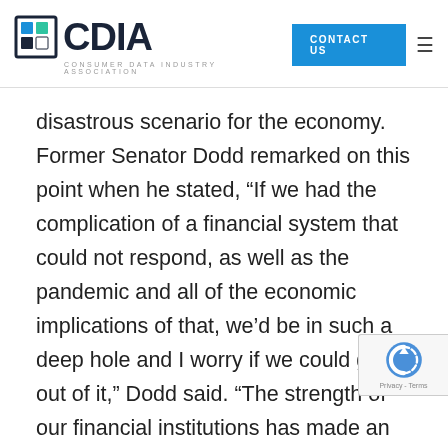CDIA — Consumer Data Industry Association — CONTACT US
disastrous scenario for the economy. Former Senator Dodd remarked on this point when he stated, “If we had the complication of a financial system that could not respond, as well as the pandemic and all of the economic implications of that, we’d be in such a deep hole and I worry if we could get out of it,” Dodd said. “The strength of our financial institutions has made an incredible difference.”
Despite attempts to deregulate banks, Dodd-Frank remains the largest bulwark of our